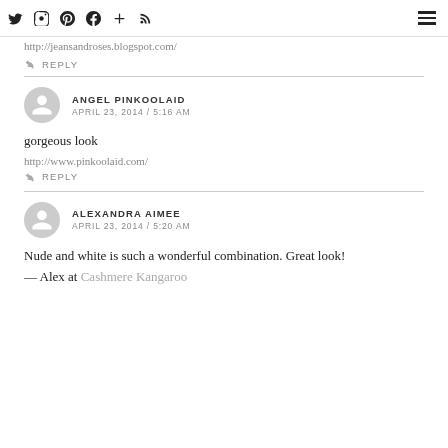Twitter Instagram Pinterest Facebook + RSS [hamburger menu]
http://jeansandroses.blogspot.com/
REPLY
ANGEL PINKOOLAID
APRIL 23, 2014 / 5:16 AM
gorgeous look
http://www.pinkoolaid.com/
REPLY
ALEXANDRA AIMEE
APRIL 23, 2014 / 5:20 AM
Nude and white is such a wonderful combination. Great look!
— Alex at Cashmere Kangaroo